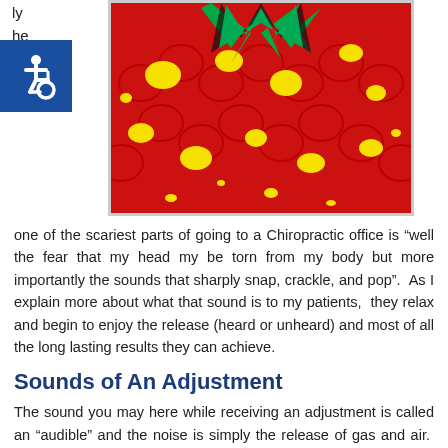ly he r na t
[Figure (illustration): Colorful pop-art style illustration with red background, yellow dots/circles, green and black spiky shapes on top]
one of the scariest parts of going to a Chiropractic office is “well the fear that my head my be torn from my body but more importantly the sounds that sharply snap, crackle, and pop”.  As I explain more about what that sound is to my patients,  they relax and begin to enjoy the release (heard or unheard) and most of all the long lasting results they can achieve.
Sounds of An Adjustment
The sound you may here while receiving an adjustment is called an “audible” and the noise is simply the release of gas and air.  Your joints are filled with fluid and a cracking sound might occur when a carbon dioxide bubble is brought inside or outside of